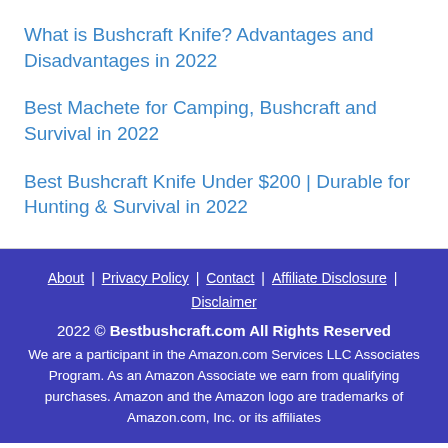What is Bushcraft Knife? Advantages and Disadvantages in 2022
Best Machete for Camping, Bushcraft and Survival in 2022
Best Bushcraft Knife Under $200 | Durable for Hunting & Survival in 2022
About | Privacy Policy | Contact | Affiliate Disclosure | Disclaimer
2022 © Bestbushcraft.com All Rights Reserved
We are a participant in the Amazon.com Services LLC Associates Program. As an Amazon Associate we earn from qualifying purchases. Amazon and the Amazon logo are trademarks of Amazon.com, Inc. or its affiliates